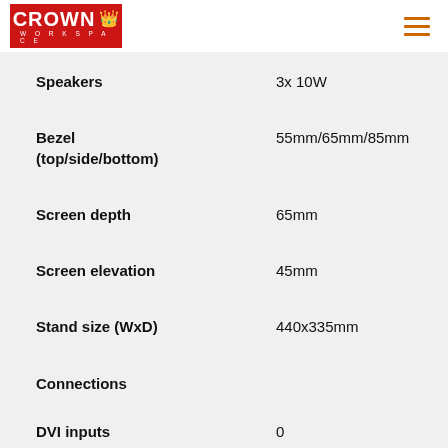Crown Workspace
| Specification | Value |
| --- | --- |
| Speakers | 3x 10W |
| Bezel (top/side/bottom) | 55mm/65mm/85mm |
| Screen depth | 65mm |
| Screen elevation | 45mm |
| Stand size (WxD) | 440x335mm |
| Connections |  |
| DVI inputs | 0 |